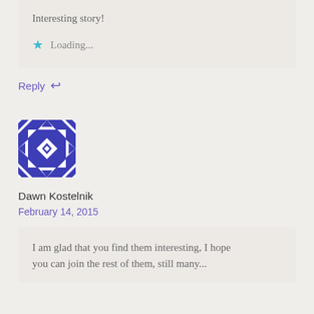Interesting story!
★ Loading...
Reply ↩
[Figure (illustration): Blue and white geometric/snowflake avatar icon for user Dawn Kostelnik]
Dawn Kostelnik
February 14, 2015
I am glad that you find them interesting, I hope you can join the rest of them, still many...